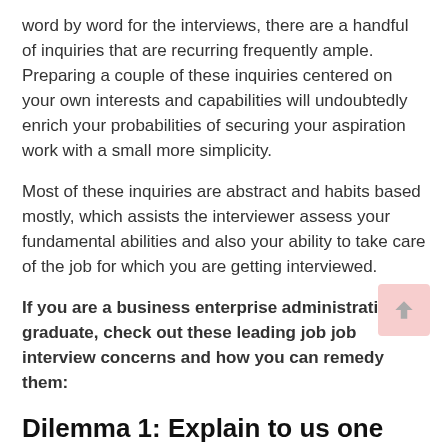word by word for the interviews, there are a handful of inquiries that are recurring frequently ample. Preparing a couple of these inquiries centered on your own interests and capabilities will undoubtedly enrich your probabilities of securing your aspiration work with a small more simplicity.
Most of these inquiries are abstract and habits based mostly, which assists the interviewer assess your fundamental abilities and also your ability to take care of the job for which you are getting interviewed.
If you are a business enterprise administration graduate, check out these leading job job interview concerns and how you can remedy them:
Dilemma 1: Explain to us one thing about on your own.
Response: This is one particular of the most questioned questions in an interview and it holds a ton of weightage for your final collection. While it sounds trivial to put